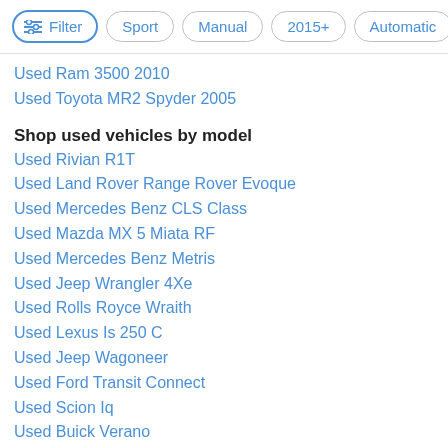Filter | Sport | Manual | 2015+ | Automatic
Used Ram 3500 2010
Used Toyota MR2 Spyder 2005
Shop used vehicles by model
Used Rivian R1T
Used Land Rover Range Rover Evoque
Used Mercedes Benz CLS Class
Used Mazda MX 5 Miata RF
Used Mercedes Benz Metris
Used Jeep Wrangler 4Xe
Used Rolls Royce Wraith
Used Lexus Is 250 C
Used Jeep Wagoneer
Used Ford Transit Connect
Used Scion Iq
Used Buick Verano
Used Pontiac Solstice